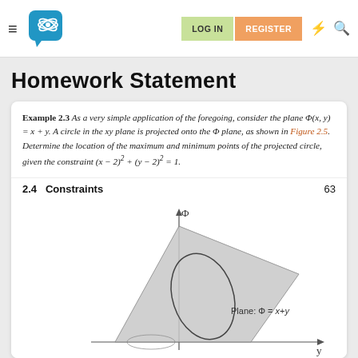LOG IN  REGISTER
Homework Statement
Example 2.3 As a very simple application of the foregoing, consider the plane Φ(x, y) = x + y. A circle in the xy plane is projected onto the Φ plane, as shown in Figure 2.5. Determine the location of the maximum and minimum points of the projected circle, given the constraint (x − 2)² + (y − 2)² = 1.
2.4  Constraints
63
[Figure (engineering-diagram): 3D diagram showing a plane Φ = x + y with a projected circle (ellipse) on the plane. Axes shown are Φ (vertical) and y (horizontal right). A triangular planar surface is shown with the projected ellipse on it. Label reads 'Plane: Φ = x + y'.]